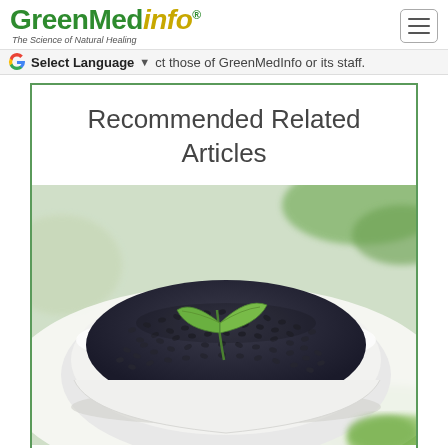GreenMedInfo - The Science of Natural Healing
ct those of GreenMedInfo or its staff.
Recommended Related Articles
[Figure (photo): A white bowl filled with black seeds (nigella sativa / black cumin) with a small green plant sprig on top, on a white background with green leaves blurred in background]